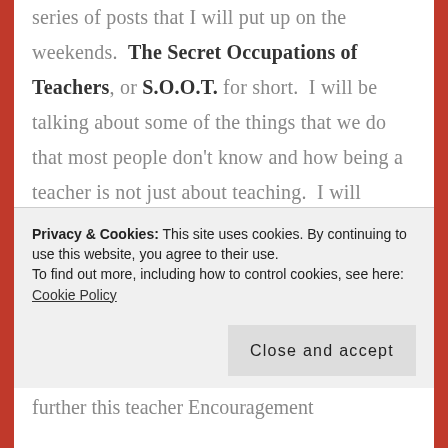series of posts that I will put up on the weekends. The Secret Occupations of Teachers, or S.O.O.T. for short. I will be talking about some of the things that we do that most people don't know and how being a teacher is not just about teaching. I will acknowledge one of our "other jobs," encourage you in that "job," and give you a little challenge in your role in that "job." I am excited about starting this, and I hope you will enjoy reading them and find a lot of encouragement from them!
Privacy & Cookies: This site uses cookies. By continuing to use this website, you agree to their use.
To find out more, including how to control cookies, see here: Cookie Policy
further this teacher Encouragement